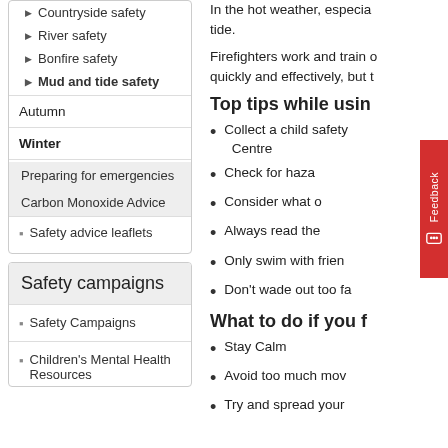Countryside safety
River safety
Bonfire safety
Mud and tide safety
Autumn
Winter
Preparing for emergencies
Carbon Monoxide Advice
Safety advice leaflets
Safety campaigns
Safety Campaigns
Children's Mental Health Resources
In the hot weather, especia tide.
Firefighters work and train quickly and effectively, but t
Top tips while usin
Collect a child safety Centre
Check for haza
Consider what
Always read the
Only swim with frien
Don't wade out too fa
What to do if you f
Stay Calm
Avoid too much mov
Try and spread your